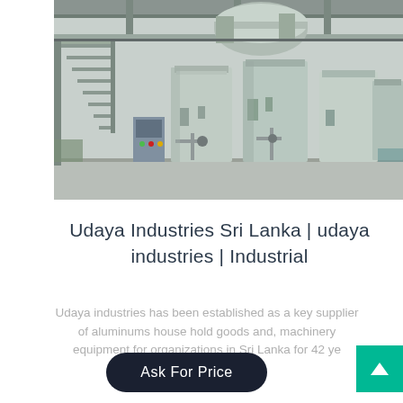[Figure (photo): Industrial factory interior showing large stainless steel tanks, machinery, pipes, valves, and a metal staircase. The facility appears to be a food processing or chemical plant with multiple large cylindrical tanks and processing equipment.]
Udaya Industries Sri Lanka | udaya industries | Industrial
Udaya industries has been established as a key supplier of aluminums house hold goods and, machinery equipment for organizations in Sri Lanka for 42 ye...
Ask For Price